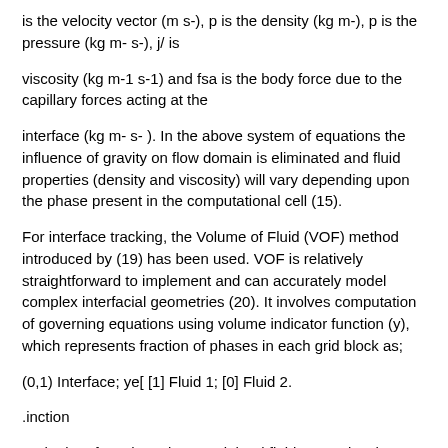is the velocity vector (m s-), p is the density (kg m-), p is the pressure (kg m- s-), j/ is
viscosity (kg m-1 s-1) and fsa is the body force due to the capillary forces acting at the
interface (kg m- s- ). In the above system of equations the influence of gravity on flow domain is eliminated and fluid properties (density and viscosity) will vary depending upon the phase present in the computational cell (15).
For interface tracking, the Volume of Fluid (VOF) method introduced by (19) has been used. VOF is relatively straightforward to implement and can accurately model complex interfacial geometries (20). It involves computation of governing equations using volume indicator function (y), which represents fraction of phases in each grid block as;
(0,1) Interface; ye[ [1] Fluid 1; [0] Fluid 2.
.inction
At the interface the volume weighted fluid properties that includes density and viscosity are coupled to VOF